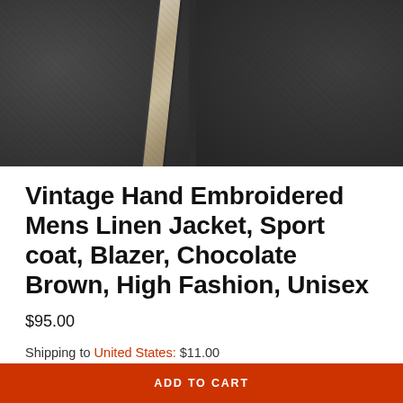[Figure (photo): Close-up photo of a chocolate brown linen jacket showing lapel detail with decorative stripe against dark fabric background]
Vintage Hand Embroidered Mens Linen Jacket, Sport coat, Blazer, Chocolate Brown, High Fashion, Unisex
$95.00
Shipping to United States: $11.00
ADD TO CART